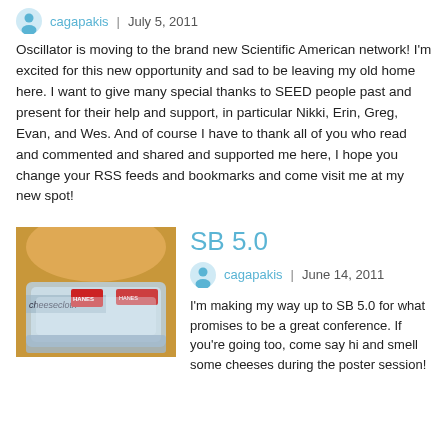cagapakis  |  July 5, 2011
Oscillator is moving to the brand new Scientific American network! I'm excited for this new opportunity and sad to be leaving my old home here. I want to give many special thanks to SEED people past and present for their help and support, in particular Nikki, Erin, Greg, Evan, and Wes. And of course I have to thank all of you who read and commented and shared and supported me here, I hope you change your RSS feeds and bookmarks and come visit me at my new spot!
[Figure (photo): Packaged cheesecloth bags product photo]
SB 5.0
cagapakis  |  June 14, 2011
I'm making my way up to SB 5.0 for what promises to be a great conference. If you're going too, come say hi and smell some cheeses during the poster session!